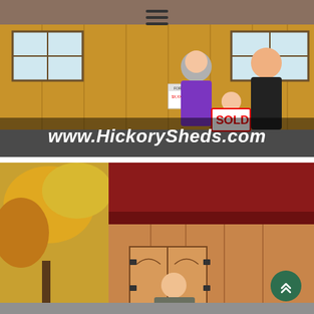[Figure (photo): Three people (woman in purple jacket, child holding a SOLD sign, man in black coat) standing in front of a yellow wooden shed. Website URL 'www.HickorySheds.com' overlaid in bold italic white text at the bottom. Hamburger menu icon at the top center.]
[Figure (photo): A man standing in front of a large wooden barn-style shed with double doors and gambrel roof. Fall foliage visible on the left. A green scroll-to-top button is in the bottom right corner.]